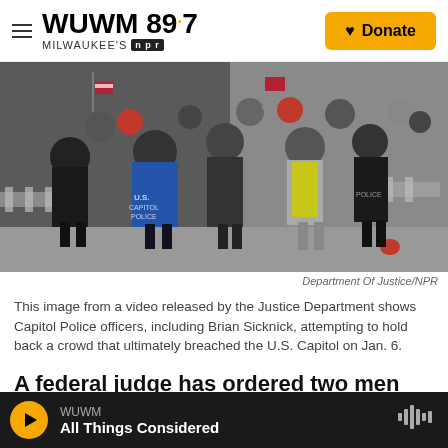WUWM 89.7 MILWAUKEE'S NPR — Donate
[Figure (photo): Crowd scene at the U.S. Capitol on January 6, showing Capitol Police officers including Brian Sicknick attempting to hold back a crowd, video still released by the Department of Justice.]
Department Of Justice/NPR
This image from a video released by the Justice Department shows Capitol Police officers, including Brian Sicknick, attempting to hold back a crowd that ultimately breached the U.S. Capitol on Jan. 6.
A federal judge has ordered two men who are charged with conspiracy for allegedly assaulting
WUWM — All Things Considered